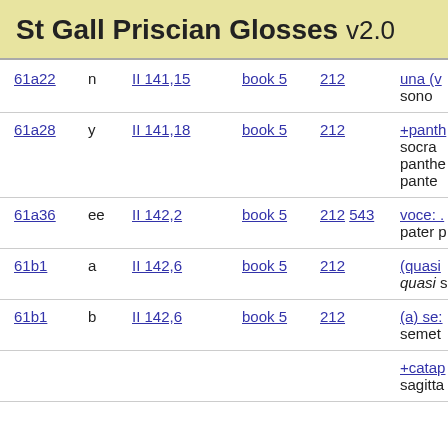St Gall Priscian Glosses v2.0
| ref | type | num | book | page | gloss |
| --- | --- | --- | --- | --- | --- |
| 61a22 | n | II 141,15 | book 5 | 212 | una (v... sono |
| 61a28 | y | II 141,18 | book 5 | 212 | +panth... socra ... panthe... pante... |
| 61a36 | ee | II 142,2 | book 5 | 212 543 | voce: . pater p |
| 61b1 | a | II 142,6 | book 5 | 212 | (quasi... quasi s |
| 61b1 | b | II 142,6 | book 5 | 212 | (a) se:... semet |
|  |  |  |  |  | +catap... sagitta... |